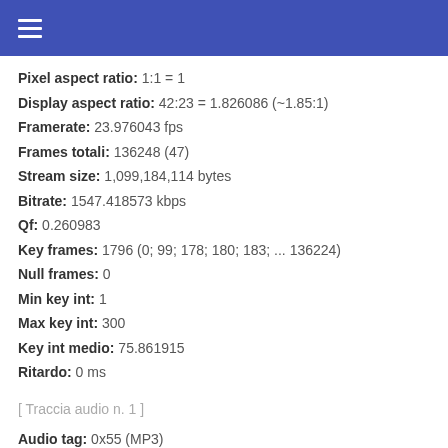☰
Pixel aspect ratio: 1:1 = 1
Display aspect ratio: 42:23 = 1.826086 (~1.85:1)
Framerate: 23.976043 fps
Frames totali: 136248 (47)
Stream size: 1,099,184,114 bytes
Bitrate: 1547.418573 kbps
Qf: 0.260983
Key frames: 1796 (0; 99; 178; 180; 183; ... 136224)
Null frames: 0
Min key int: 1
Max key int: 300
Key int medio: 75.861915
Ritardo: 0 ms
[ Traccia audio n. 1 ]
Audio tag: 0x55 (MP3)